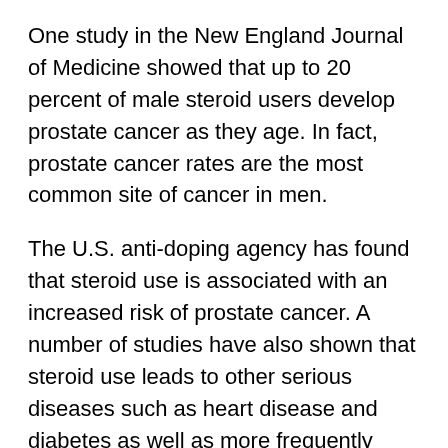One study in the New England Journal of Medicine showed that up to 20 percent of male steroid users develop prostate cancer as they age. In fact, prostate cancer rates are the most common site of cancer in men.
The U.S. anti-doping agency has found that steroid use is associated with an increased risk of prostate cancer. A number of studies have also shown that steroid use leads to other serious diseases such as heart disease and diabetes as well as more frequently having surgeries to repair existing diseases.
And here's why, for athletes, using steroids to get an edge is a risky business
In the last the more recent the story, more and